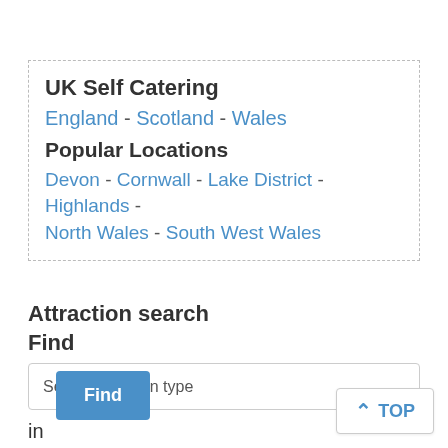UK Self Catering
England - Scotland - Wales
Popular Locations
Devon - Cornwall - Lake District - Highlands - North Wales - South West Wales
Attraction search
Find
Select Attraction type
in
--Select County--
Find
TOP